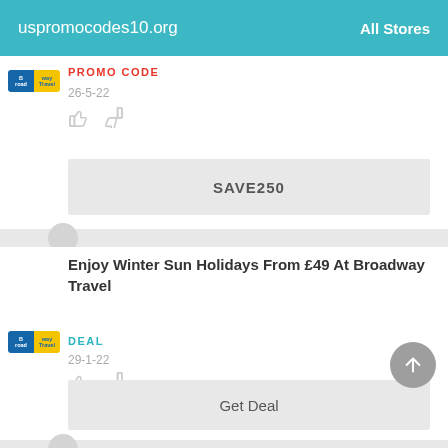uspromocodes10.org   All Stores
PROMO CODE
26-5-22
SAVE250
Enjoy Winter Sun Holidays From £49 At Broadway Travel
DEAL
29-1-22
Get Deal